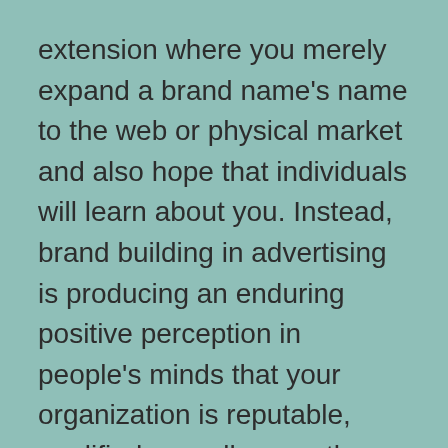extension where you merely expand a brand name's name to the web or physical market and also hope that individuals will learn about you. Instead, brand building in advertising is producing an enduring positive perception in people's minds that your organization is reputable, qualified as well as worth purchasing.
It do without saying that in order to reap take advantage of brand name building, you need to have a strong reputation in your chosen market sector. Your brand name ought to be well developed as well as have actually